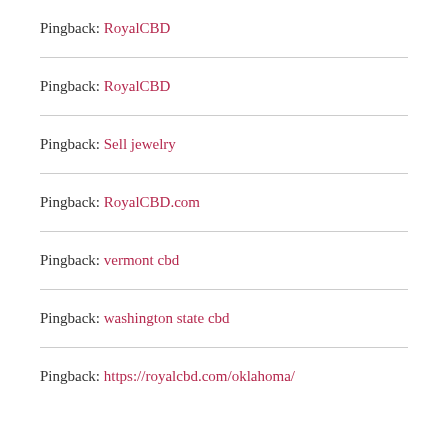Pingback: RoyalCBD
Pingback: RoyalCBD
Pingback: Sell jewelry
Pingback: RoyalCBD.com
Pingback: vermont cbd
Pingback: washington state cbd
Pingback: https://royalcbd.com/oklahoma/